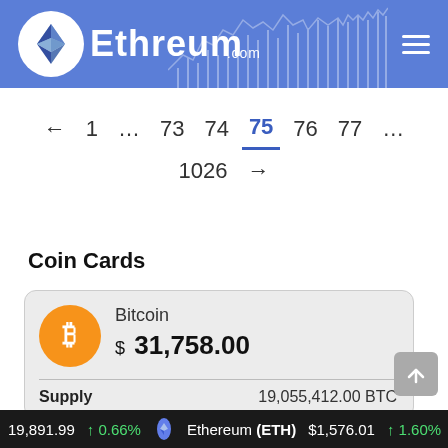[Figure (logo): Ethreum.com logo with Ethereum diamond icon in white circle on blue header background]
← 1 … 73 74 75 76 77 … 1026 →
Coin Cards
|  | Bitcoin |  |
| --- | --- | --- |
|  | $ 31,758.00 |  |
| Supply | 19,055,412.00 BTC |  |
19,891.99  ↑ 0.66%  Ethereum (ETH)  $1,576.01  ↑ 1.60%